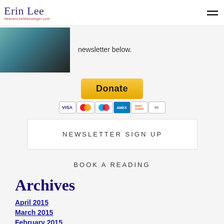Erin Lee — HeavenLeeMessenger.com
[Figure (photo): Partial photo of a person in dark clothing, cropped at top]
newsletter below.
[Figure (other): PayPal Donate button with payment card icons: VISA, Mastercard, Maestro, American Express, Discover, Diners Club]
NEWSLETTER SIGN UP
BOOK A READING
Archives
April 2015
March 2015
February 2015